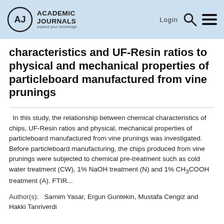Academic Journals — Login
characteristics and UF-Resin ratios to physical and mechanical properties of particleboard manufactured from vine prunings
In this study, the relationship between chemical characteristics of chips, UF-Resin ratios and physical, mechanical properties of particleboard manufactured from vine prunings was investigated. Before particleboard manufacturing, the chips produced from vine prunings were subjected to chemical pre-treatment such as cold water treatment (CW), 1% NaOH treatment (N) and 1% CH3COOH treatment (A). FTIR...
Author(s): Samim Yasar, Ergun Guntekin, Mustafa Cengiz and Hakki Tanriverdi